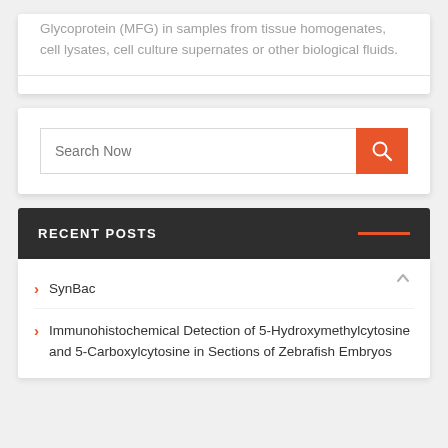Glycoprotein (MFG) in samples from tissue homogenates, cell lysates, cell culture supernates or other biological fluids.
RECENT POSTS
SynBac
Immunohistochemical Detection of 5-Hydroxymethylcytosine and 5-Carboxylcytosine in Sections of Zebrafish Embryos